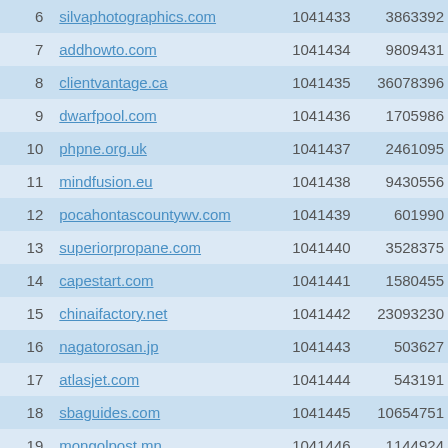| 6 | silvaphotographics.com | 1041433 | 3863392 |
| 7 | addhowto.com | 1041434 | 9809431 |
| 8 | clientvantage.ca | 1041435 | 36078396 |
| 9 | dwarfpool.com | 1041436 | 1705986 |
| 10 | phpne.org.uk | 1041437 | 2461095 |
| 11 | mindfusion.eu | 1041438 | 9430556 |
| 12 | pocahontascountywv.com | 1041439 | 601990 |
| 13 | superiorpropane.com | 1041440 | 3528375 |
| 14 | capestart.com | 1041441 | 1580455 |
| 15 | chinaifactory.net | 1041442 | 23093230 |
| 16 | nagatorosan.jp | 1041443 | 503627 |
| 17 | atlasjet.com | 1041444 | 543191 |
| 18 | sbaguides.com | 1041445 | 10654751 |
| 19 | mongolpost.mn | 1041446 | 1144924 |